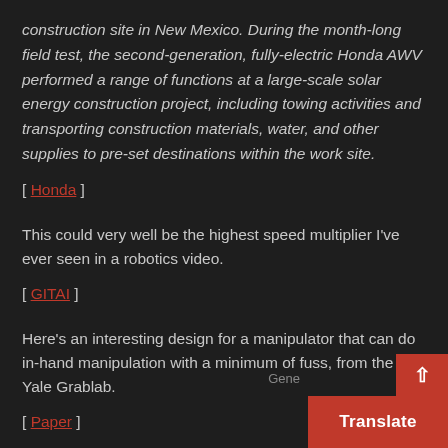construction site in New Mexico. During the month-long field test, the second-generation, fully-electric Honda AWV performed a range of functions at a large-scale solar energy construction project, including towing activities and transporting construction materials, water, and other supplies to pre-set destinations within the work site.
[ Honda ]
This could very well be the highest speed multiplier I've ever seen in a robotics video.
[ GITAI ]
Here's an interesting design for a manipulator that can do in-hand manipulation with a minimum of fuss, from the Yale Grablab.
[ Paper ]
That ugo robot that's just a ball with eyes on